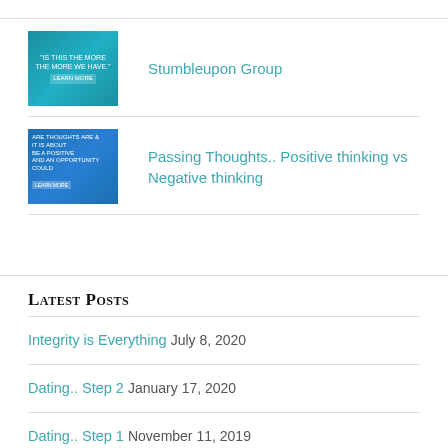[Figure (illustration): Blue gradient thumbnail image with white text for Stumbleupon Group]
Stumbleupon Group
[Figure (illustration): Blue gradient thumbnail image with white text for Passing Thoughts post]
Passing Thoughts.. Positive thinking vs Negative thinking
Latest Posts
Integrity is Everything July 8, 2020
Dating.. Step 2 January 17, 2020
Dating.. Step 1 November 11, 2019
Triggered?! October 31, 2019